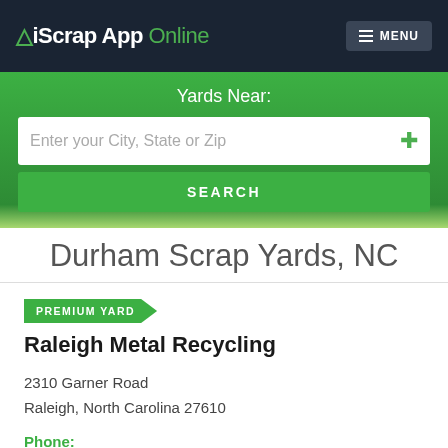iScrap App Online | MENU
Yards Near:
Enter your City, State or Zip
SEARCH
Durham Scrap Yards, NC
PREMIUM YARD
Raleigh Metal Recycling
2310 Garner Road
Raleigh, North Carolina 27610
Phone:
(919) 828-5426